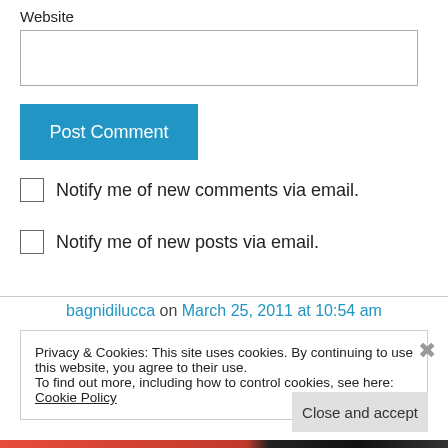Website
Post Comment
Notify me of new comments via email.
Notify me of new posts via email.
bagnidilucca on March 25, 2011 at 10:54 am
Privacy & Cookies: This site uses cookies. By continuing to use this website, you agree to their use. To find out more, including how to control cookies, see here: Cookie Policy
Close and accept